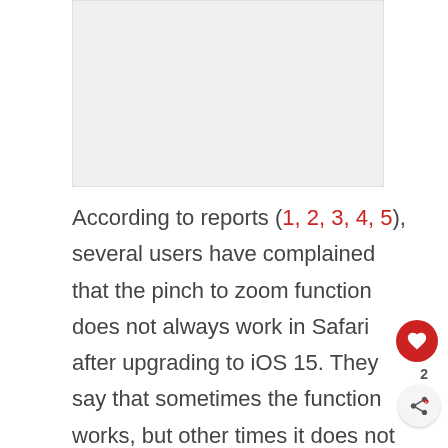[Figure (photo): Gray placeholder image area at the top of the page]
According to reports (1, 2, 3, 4, 5), several users have complained that the pinch to zoom function does not always work in Safari after upgrading to iOS 15. They say that sometimes the function works, but other times it does not responds.